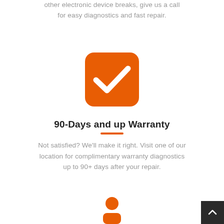other electronic device breaks, give us a call for easy diagnostics and fast repair.
[Figure (illustration): Orange rounded square icon with a white checkmark inside]
90-Days and up Warranty
Not satisfied? We'll make it right. Visit one of our location for complimentary warranty diagnostics up to 90+ days after your repair.
[Figure (illustration): Orange person/user icon consisting of a circle head and rectangle body]
[Figure (illustration): Dark back-to-top button with upward chevron arrow in bottom right corner]